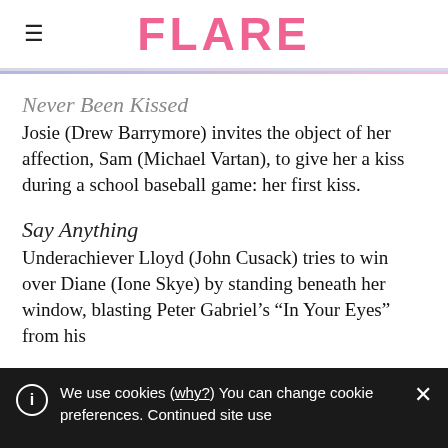FLARE
Never Been Kissed
Josie (Drew Barrymore) invites the object of her affection, Sam (Michael Vartan), to give her a kiss during a school baseball game: her first kiss.
Say Anything
Underachiever Lloyd (John Cusack) tries to win over Diane (Ione Skye) by standing beneath her window, blasting Peter Gabriel's “In Your Eyes” from his
We use cookies (why?) You can change cookie preferences. Continued site use